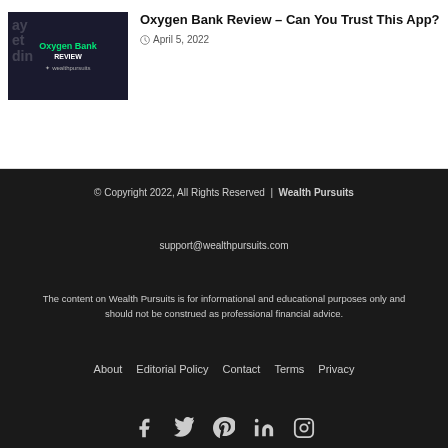[Figure (photo): Thumbnail image for Oxygen Bank Review article – dark background with green 'Oxygen Bank' text and 'REVIEW' label, wealthpursuits branding]
Oxygen Bank Review – Can You Trust This App?
April 5, 2022
© Copyright 2022, All Rights Reserved | Wealth Pursuits
support@wealthpursuits.com
The content on Wealth Pursuits is for informational and educational purposes only and should not be construed as professional financial advice.
About  Editorial Policy  Contact  Terms  Privacy